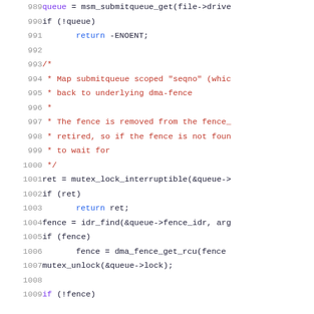[Figure (screenshot): Source code snippet (C) with syntax highlighting, line numbers 989-1009, showing queue/fence handling logic with mutex lock and idr_find calls.]